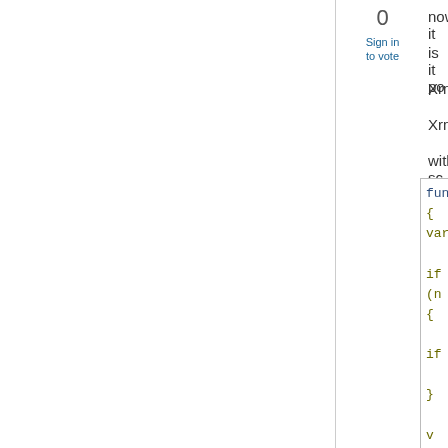0
Sign in to vote
now, it
is it po
Xrm.P
Xrm.P
with sc
function
{
    var

    if (n
    {

        if

        }

        v
        if


        }
    }